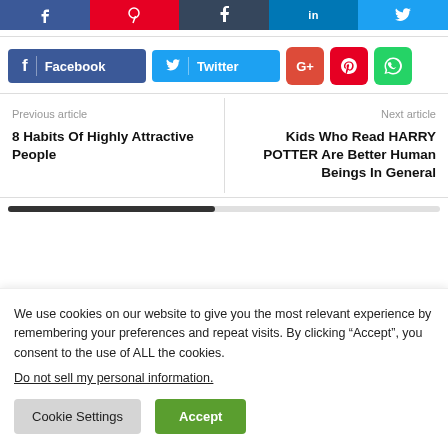[Figure (screenshot): Top social share button bar with Facebook, Pinterest, Tumblr, LinkedIn, Twitter icons]
[Figure (screenshot): Social share buttons row: Facebook, Twitter labeled buttons plus Google+, Pinterest, WhatsApp icon buttons]
Previous article
8 Habits Of Highly Attractive People
Next article
Kids Who Read HARRY POTTER Are Better Human Beings In General
We use cookies on our website to give you the most relevant experience by remembering your preferences and repeat visits. By clicking “Accept”, you consent to the use of ALL the cookies.
Do not sell my personal information.
Cookie Settings
Accept